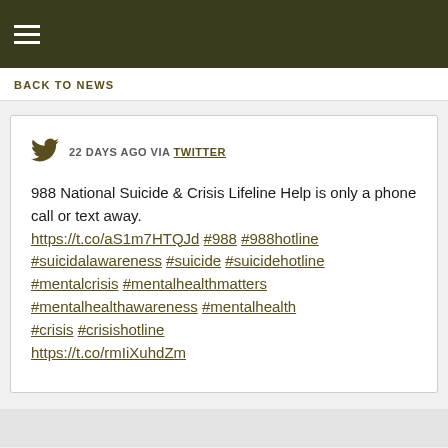☰
BACK TO NEWS
22 DAYS AGO VIA TWITTER
988 National Suicide & Crisis Lifeline Help is only a phone call or text away.
https://t.co/aS1m7HTQJd #988 #988hotline #suicidalawareness #suicide #suicidehotline #mentalcrisis #mentalhealthmatters #mentalhealthawareness #mentalhealth #crisis #crisishotline https://t.co/rmIiXuhdZm